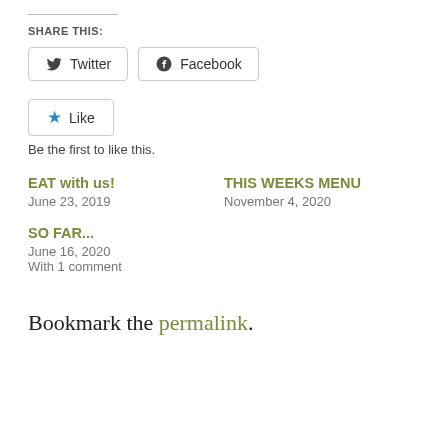SHARE THIS:
[Figure (other): Social sharing buttons: Twitter and Facebook]
[Figure (other): Like button with star icon]
Be the first to like this.
EAT with us!
June 23, 2019
THIS WEEKS MENU
November 4, 2020
SO FAR...
June 16, 2020
With 1 comment
Bookmark the permalink.